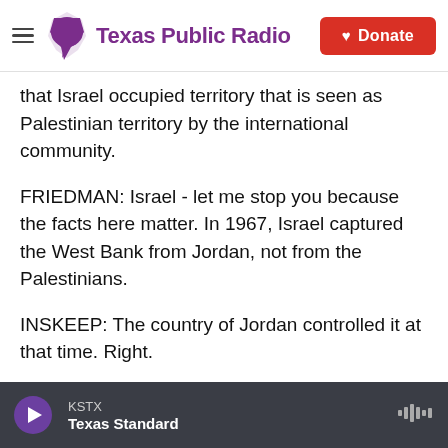Texas Public Radio | Donate
that Israel occupied territory that is seen as Palestinian territory by the international community.
FRIEDMAN: Israel - let me stop you because the facts here matter. In 1967, Israel captured the West Bank from Jordan, not from the Palestinians.
INSKEEP: The country of Jordan controlled it at that time. Right.
FRIEDMAN: From the country of Jordan. And the country of Jordan's possession of the West Bank was not recognized by any nation in the world other
KSTX | Texas Standard